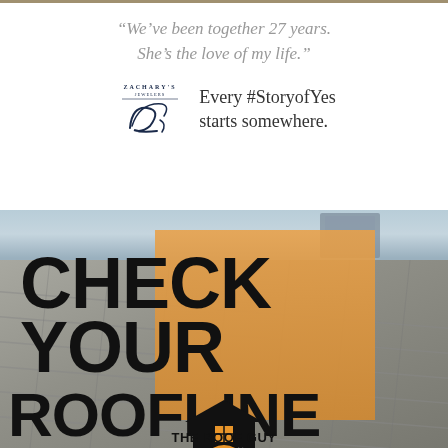“We’ve been together 27 years. She’s the love of my life.”
[Figure (logo): Zachary's Jewelers logo with stylized Z]
Every #StoryofYes starts somewhere.
[Figure (photo): Close-up photo of gray roof shingles with orange rectangle overlay and bold black text reading CHECK YOUR ROOFLINE]
[Figure (logo): The Roof Guy Annapolis logo with house icon]